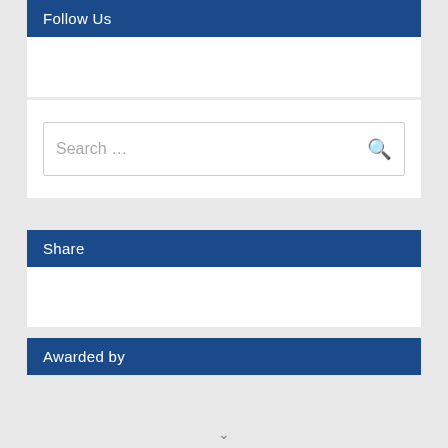Follow Us
[Figure (screenshot): Empty Follow Us widget body area]
[Figure (screenshot): Search bar with placeholder text 'Search ...' and a search icon on the right]
Share
[Figure (screenshot): Empty Share widget body area]
Awarded by
v